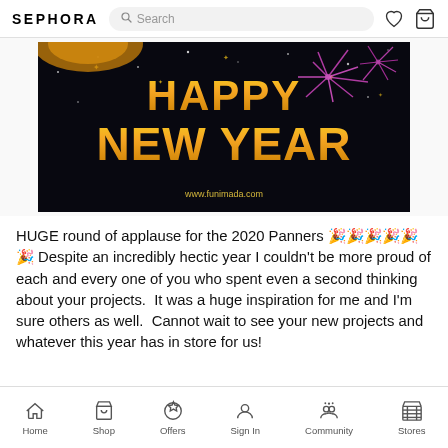SEPHORA — Search bar — heart icon — cart icon
[Figure (photo): Happy New Year banner image with gold text 'HAPPY NEW YEAR' on a dark background with purple fireworks and the URL www.funimada.com]
HUGE round of applause for the 2020 Panners 🎉🎉🎉🎉🎉🎉 Despite an incredibly hectic year I couldn't be more proud of each and every one of you who spent even a second thinking about your projects.  It was a huge inspiration for me and I'm sure others as well.  Cannot wait to see your new projects and whatever this year has in store for us!
Home  Shop  Offers  Sign In  Community  Stores